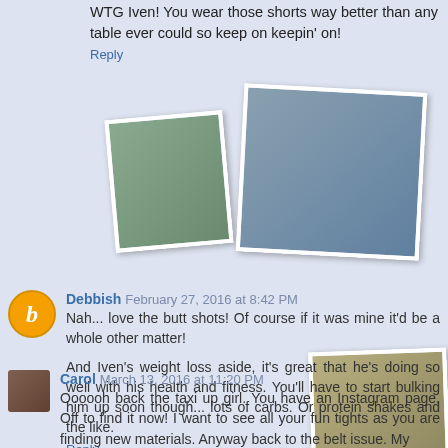WTG Iven! You wear those shorts way better than any table ever could so keep on keepin' on!
Reply
[Figure (photo): Scattered polaroid-style photos of runners and athletes in the background]
Debbish February 27, 2016 at 8:42 PM
Nah... love the butt shots! Of course if it was mine it'd be a whole other matter!

And Iven's weight loss aside, it's great that he's doing so well with his health and fitness. You'll have to start bulking him up soon though... lots of carbs. Or protein shakes and the like.
Reply
Carol March 13, 2016 at 11:20 PM
Oooooh back the taxi up girl. You have an Instagram page. Off to find it now! I want to see all your fun tights as you are finding new materials. Anyway back to the belt issue. My